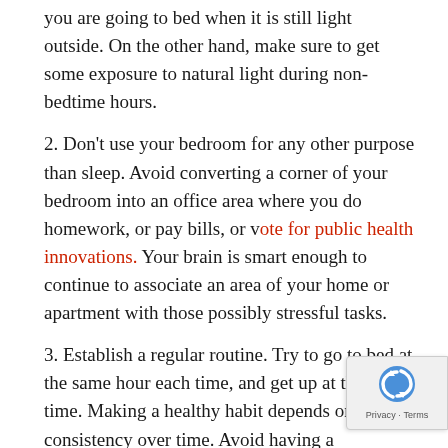you are going to bed when it is still light outside. On the other hand, make sure to get some exposure to natural light during non-bedtime hours.
2. Don't use your bedroom for any other purpose than sleep. Avoid converting a corner of your bedroom into an office area where you do homework, or pay bills, or vote for public health innovations. Your brain is smart enough to continue to associate an area of your home or apartment with those possibly stressful tasks.
3. Establish a regular routine. Try to go to bed at the same hour each time, and get up at the same time. Making a healthy habit depends on consistency over time. Avoid having a completely different weekend than weekday routine, if at all possible. It is hard for your body yo switch from one pattern to another
4. Taking a siesta after lunch might seem like a pleasurable